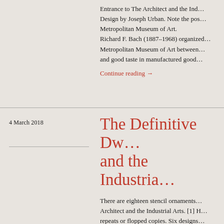Entrance to The Architect and the Ind… Design by Joseph Urban. Note the pos… Metropolitan Museum of Art. Richard F. Bach (1887–1968) organized… Metropolitan Museum of Art between… and good taste in manufactured good…
Continue reading →
4 March 2018
The Definitive Dw… and the Industria…
There are eighteen stencil ornaments… Architect and the Industrial Arts. [1] H… repeats or flopped copies. Six designs… black, though several have hatched el… Dwiggins' original crisp edges have u…